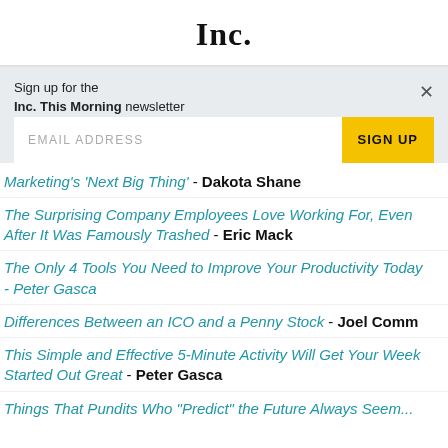Inc.
Sign up for the Inc. This Morning newsletter
EMAIL ADDRESS   SIGN UP
Marketing's 'Next Big Thing' - Dakota Shane
The Surprising Company Employees Love Working For, Even After It Was Famously Trashed - Eric Mack
The Only 4 Tools You Need to Improve Your Productivity Today - Peter Gasca
Differences Between an ICO and a Penny Stock - Joel Comm
This Simple and Effective 5-Minute Activity Will Get Your Week Started Out Great - Peter Gasca
Things That Pundits Who "Predict" the Future Always Seem...